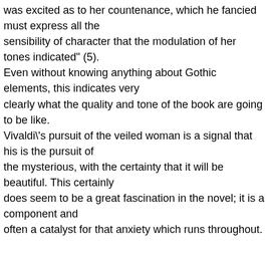was excited as to her countenance, which he fancied must express all the sensibility of character that the modulation of her tones indicated" (5). Even without knowing anything about Gothic elements, this indicates very clearly what the quality and tone of the book are going to be like. Vivaldi\'s pursuit of the veiled woman is a signal that his is the pursuit of the mysterious, with the certainty that it will be beautiful. This certainly does seem to be a great fascination in the novel; it is a component and often a catalyst for that anxiety which runs throughout.